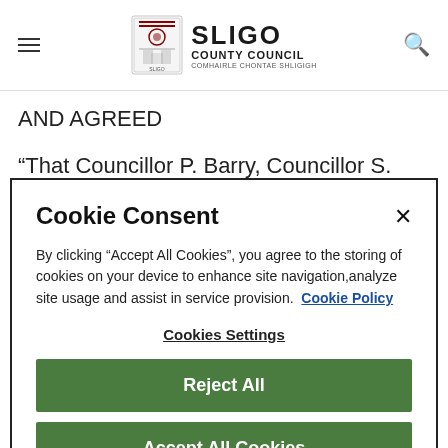Sligo County Council
AND AGREED
“That Councillor P. Barry, Councillor S. Kilgannon and Councillor R. Mc Guinn
Cookie Consent
By clicking “Accept All Cookies”, you agree to the storing of cookies on your device to enhance site navigation,analyze site usage and assist in service provision.  Cookie Policy
Cookies Settings
Reject All
Accept All Cookies